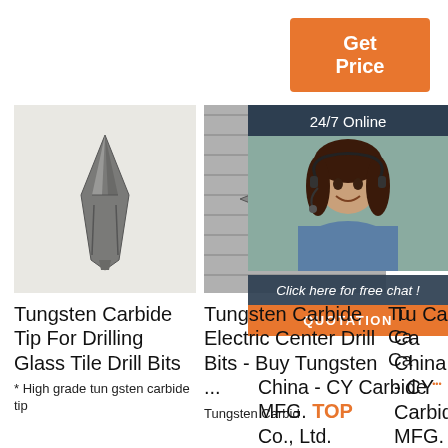[Figure (other): Orange Get Price button]
[Figure (photo): Tungsten carbide tip drill bit - gray metal wedge-shaped tip on white background]
[Figure (photo): Tungsten carbide electric center drill bit - cross-shaped bit end-on, black and white photo]
[Figure (photo): 24/7 Online customer service panel with smiling woman wearing headset; includes Click here for free chat and QUOTATION button]
Tungsten Carbide Tip For Drilling Glass Tile Drill Bits
* High grade tun gsten carbide tip
Tungsten Carbide Electric Center Drill Bits - Buy Tungsten ...
Tungsten Carbid
Tungsten Carbide Ca Ca China - CY Carbide MFG. Co., Ltd.